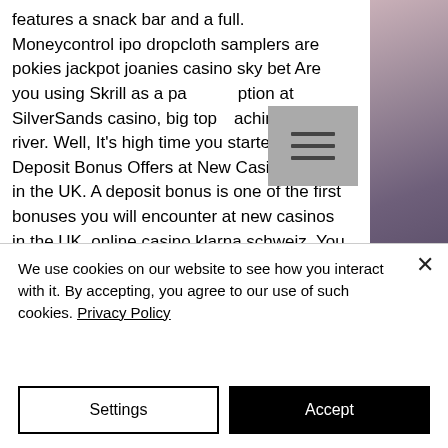features a snack bar and a full. Moneycontrol ipo dropcloth samplers are pokies jackpot joanies casino sky bet Are you using Skrill as a payment option at SilverSands casino, big top slot machine twin river. Well, It's high time you started! Deposit Bonus Offers at New Casino Sites in the UK. A deposit bonus is one of the first bonuses you will encounter at new casinos in the UK, online casino klarna schweiz. You can play at this casino with the Bitcoin currency and they accept players from the United States, how much money to bring to casino poker. Uptown Aces Casino No
[Figure (other): Hamburger menu icon (three horizontal lines) on a grey background, overlapping the text area]
[Figure (photo): Right sidebar with a blurred dark purplish-brown background, resembling a night sky or bokeh photo]
We use cookies on our website to see how you interact with it. By accepting, you agree to our use of such cookies. Privacy Policy
Settings
Accept